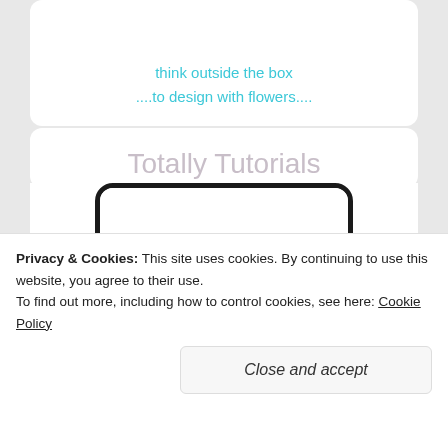think outside the box
....to design with flowers....
Totally Tutorials
[Figure (logo): My Tute is on Totally Tutorials logo with purple scissors and text, totallytutorials.blogspot.com]
Privacy & Cookies: This site uses cookies. By continuing to use this website, you agree to their use.
To find out more, including how to control cookies, see here: Cookie Policy
Close and accept